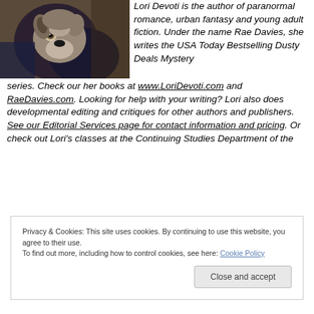[Figure (photo): Photo of a dog (appears to be a husky or wolf-mix) being held by a person]
Lori Devoti is the author of paranormal romance, urban fantasy and young adult fiction. Under the name Rae Davies, she writes the USA Today Bestselling Dusty Deals Mystery series. Check our her books at www.LoriDevoti.com and RaeDavies.com. Looking for help with your writing? Lori also does developmental editing and critiques for other authors and publishers. See our Editorial Services page for contact information and pricing. Or check out Lori's classes at the Continuing Studies Department of the
Privacy & Cookies: This site uses cookies. By continuing to use this website, you agree to their use.
To find out more, including how to control cookies, see here: Cookie Policy
Close and accept